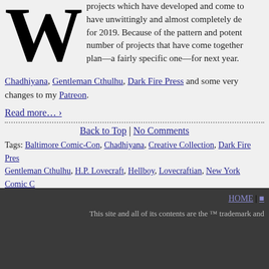projects which have developed and come to have unwittingly and almost completely de for 2019. Because of the pattern and potent number of projects that have come together plan—a fairly specific one—for next year.
Chadhiyana, Gentleman Cthulhu, Dark Fire Press and some very changes to my Patreon.
Read more… ›
Back to Top | No Comments
Tags: Baltimore Comic-Con, Chadhiyana, Creative Collection, Dark Fire Pres Gentleman Cthulhu, H.P. Lovecraft, Hellboy, Lovecraftian, New York Comic C Rhode Island Comic Con, Spider-Man, The Kirklyn Horror, The Tainted Ones
‹ Newer Posts — Older Posts ›
HOME | This site and all of its contents are the ™ trademark and